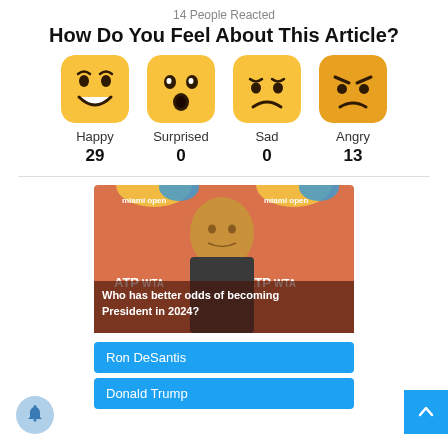14 People Reacted
How Do You Feel About This Article?
[Figure (infographic): Four emoji reaction icons: Happy (29), Surprised (0), Sad (0), Angry (13)]
[Figure (photo): Photo of Ron DeSantis at Miami Open event with overlay text: Who has better odds of becoming President in 2024?]
Ron DeSantis
Donald Trump